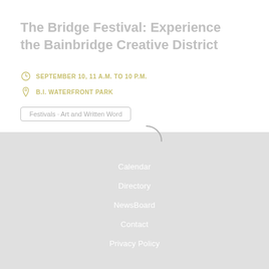The Bridge Festival: Experience the Bainbridge Creative District
SEPTEMBER 10, 11 A.M. TO 10 P.M.
B.I. WATERFRONT PARK
Festivals · Art and Written Word
Calendar
Directory
NewsBoard
Contact
Privacy Policy